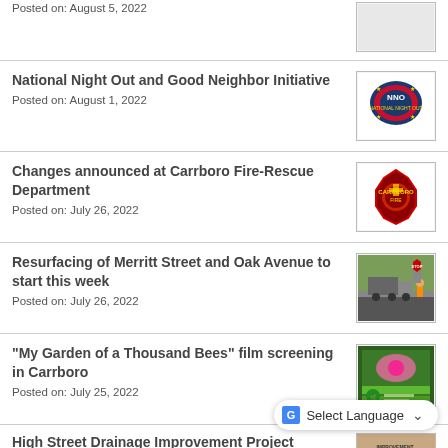Posted on: August 5, 2022
National Night Out and Good Neighbor Initiative
Posted on: August 1, 2022
Changes announced at Carrboro Fire-Rescue Department
Posted on: July 26, 2022
Resurfacing of Merritt Street and Oak Avenue to start this week
Posted on: July 26, 2022
“My Garden of a Thousand Bees” film screening in Carrboro
Posted on: July 25, 2022
High Street Drainage Improvement Project
Posted on: July 25, 2022
Select Language